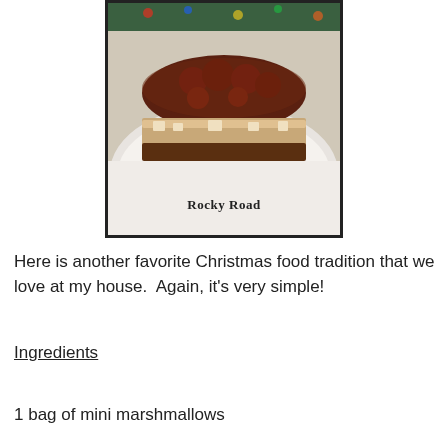[Figure (photo): A photo of a slice of Rocky Road dessert on a white plate with a Christmas tree visible in the background. The dessert shows layers of dark chocolate, cherries/nuts, and marshmallow nougat. Text 'Rocky Road' appears at the bottom of the photo.]
Here is another favorite Christmas food tradition that we love at my house.  Again, it's very simple!
Ingredients
1 bag of mini marshmallows